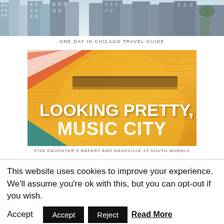[Figure (photo): Partial view of Chicago city skyline with tall glass skyscrapers against a blue sky]
ONE DAY IN CHICAGO TRAVEL GUIDE
[Figure (photo): Yellow brick wall mural reading 'LOOKING PRETTY, MUSIC CITY' in white hand-lettered style text, with colorful painted designs]
FIVE DAUGHTER'S BAKERY AND NASHVILLE 12 SOUTH MURALS
This website uses cookies to improve your experience. We'll assume you're ok with this, but you can opt-out if you wish. Accept  Reject  Read More